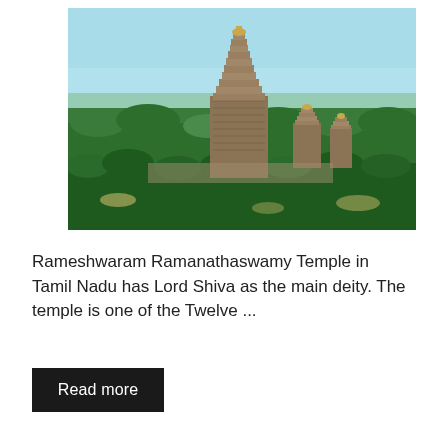[Figure (photo): Aerial view of Rameshwaram Ramanathaswamy Temple gopuram rising above dense green forest and palm trees under a light blue sky. The large multi-tiered tower is visible in the center with smaller towers to its right.]
Rameshwaram Ramanathaswamy Temple in Tamil Nadu has Lord Shiva as the main deity. The temple is one of the Twelve ...
Read more